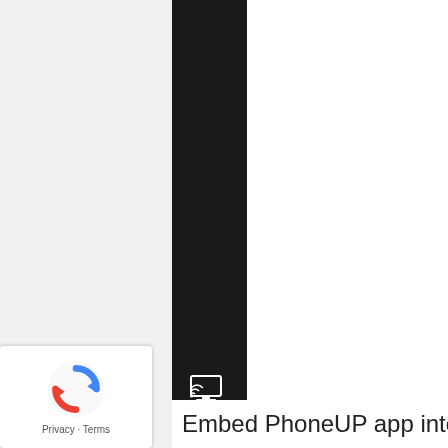[Figure (screenshot): Screenshot showing a web browser UI with a dark vertical navigation sidebar on the left portion, white/light gray content areas on either side, a cast/screen-mirror icon in the dark sidebar, a reCAPTCHA privacy badge in the lower-left corner, and partially visible text reading 'Embed PhoneUP app into Cisco ...' at the bottom.]